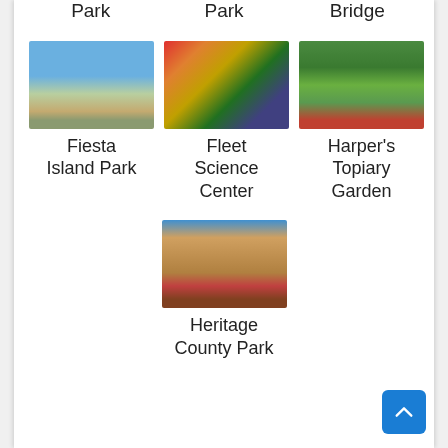Park
Park
Bridge
[Figure (photo): Aerial or shore view of Fiesta Island Park showing water and sandy beach]
Fiesta Island Park
[Figure (photo): Interior of Fleet Science Center showing colorful exhibits and displays]
Fleet Science Center
[Figure (photo): Green topiary sculptures at Harper's Topiary Garden]
Harper's Topiary Garden
[Figure (photo): Victorian-style building at Heritage County Park with blue sky and trees]
Heritage County Park